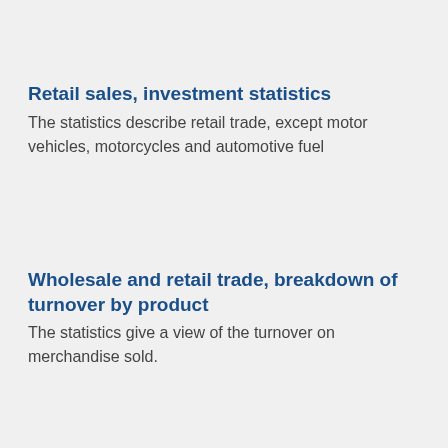Retail sales, investment statistics
The statistics describe retail trade, except motor vehicles, motorcycles and automotive fuel
Wholesale and retail trade, breakdown of turnover by product
The statistics give a view of the turnover on merchandise sold.